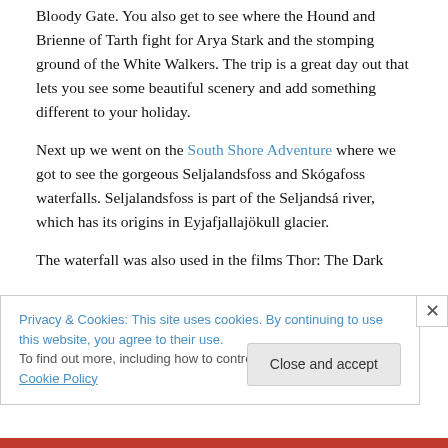Bloody Gate. You also get to see where the Hound and Brienne of Tarth fight for Arya Stark and the stomping ground of the White Walkers. The trip is a great day out that lets you see some beautiful scenery and add something different to your holiday.
Next up we went on the South Shore Adventure where we got to see the gorgeous Seljalandsfoss and Skógafoss waterfalls. Seljalandsfoss is part of the Seljandsá river, which has its origins in Eyjafjallajökull glacier.
The waterfall was also used in the films Thor: The Dark
Privacy & Cookies: This site uses cookies. By continuing to use this website, you agree to their use.
To find out more, including how to control cookies, see here: Cookie Policy